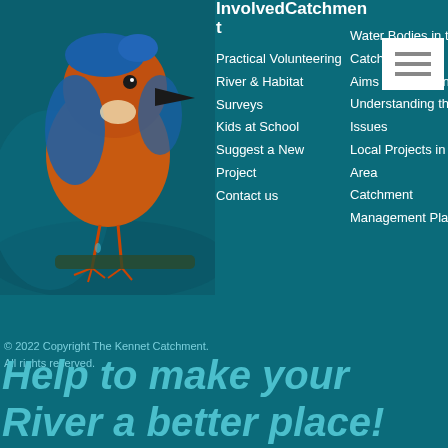[Figure (photo): Kingfisher bird (orange and blue) perched on a branch against a teal/dark background, top-left of page]
InvolvedCatchment
Practical Volunteering
River & Habitat Surveys
Kids at School
Suggest a New Project
Contact us
Water Bodies in the Catchment
Aims of the Partnership
Understanding the Issues
Local Projects in your Area
Catchment Management Plan
About
Catchment
How to become a Partner
Terms & Conditions
Privacy Policy
Cookies
© 2022 Copyright The Kennet Catchment. All rights reserved.
Help to make your River a better place!